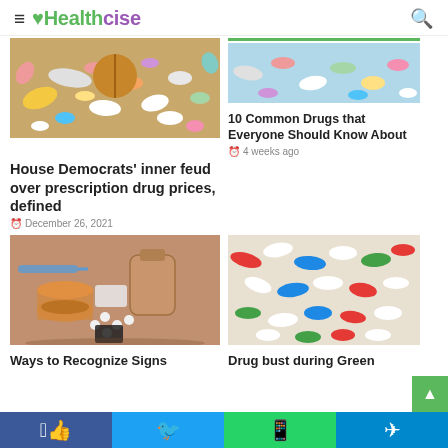≡ ♥Healthcise 🔍
[Figure (photo): Colorful pills and tablets spilled together — top-left article image]
[Figure (photo): Colorful mixed pills and capsules — top-right article image with green bar]
10 Common Drugs that Everyone Should Know About
4 weeks ago
House Democrats' inner feud over prescription drug prices, defined
December 26, 2021
[Figure (photo): Drugs and substances on a table — bottom-left article image]
[Figure (photo): Colorful pills and capsules — bottom-right article image]
Ways to Recognize Signs
Drug bust during Green
Facebook  Twitter  WhatsApp  Telegram